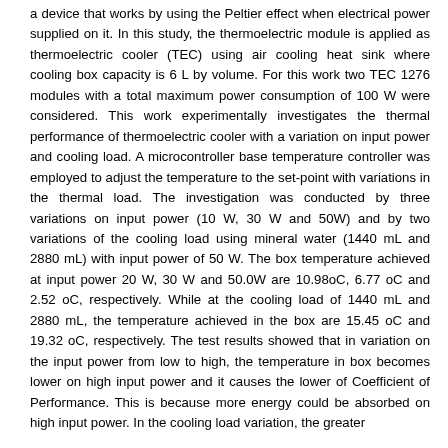a device that works by using the Peltier effect when electrical power supplied on it. In this study, the thermoelectric module is applied as thermoelectric cooler (TEC) using air cooling heat sink where cooling box capacity is 6 L by volume. For this work two TEC 1276 modules with a total maximum power consumption of 100 W were considered. This work experimentally investigates the thermal performance of thermoelectric cooler with a variation on input power and cooling load. A microcontroller base temperature controller was employed to adjust the temperature to the set-point with variations in the thermal load. The investigation was conducted by three variations on input power (10 W, 30 W and 50W) and by two variations of the cooling load using mineral water (1440 mL and 2880 mL) with input power of 50 W. The box temperature achieved at input power 20 W, 30 W and 50.0W are 10.98oC, 6.77 oC and 2.52 oC, respectively. While at the cooling load of 1440 mL and 2880 mL, the temperature achieved in the box are 15.45 oC and 19.32 oC, respectively. The test results showed that in variation on the input power from low to high, the temperature in box becomes lower on high input power and it causes the lower of Coefficient of Performance. This is because more energy could be absorbed on high input power. In the cooling load variation, the greater